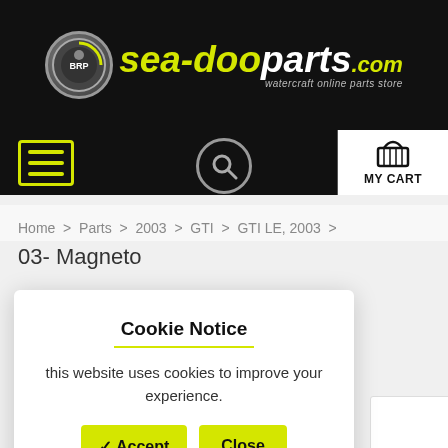[Figure (logo): sea-dooparts.com logo with BRP circle and yellow text on black background]
[Figure (screenshot): Navigation bar with hamburger menu icon (yellow border), search magnifying glass icon, and MY CART icon with basket]
Home > Parts > 2003 > GTI > GTI LE, 2003 >
03- Magneto
Cookie Notice
this website uses cookies to improve your experience.
✓ Accept
Close
Read our Privacy Policy